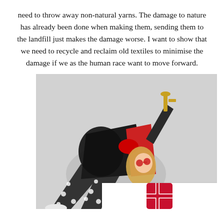need to throw away non-natural yarns. The damage to nature has already been done when making them, sending them to the landfill just makes the damage worse. I want to show that we need to recycle and reclaim old textiles to minimise the damage if we as the human race want to move forward.
[Figure (photo): A person wearing black and white polka-dot wide-leg trousers, a black fluffy jacket, red clothing, and red round sunglasses, leaning back against a textured white wall, holding a trumpet aloft, with a green 'DUPED' sign visible at the bottom right.]